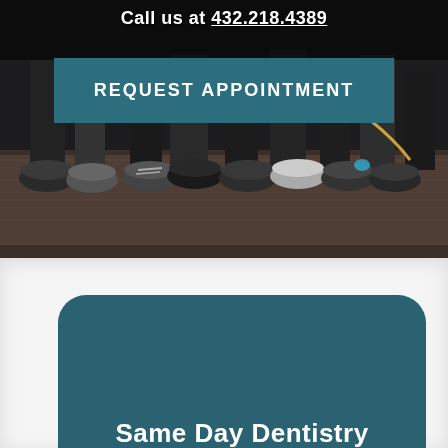Call us at 432.218.4389
REQUEST APPOINTMENT
[Figure (photo): Group of people's feet wearing various sneakers standing on a patterned rug/carpet, dark background]
Same Day Dentistry